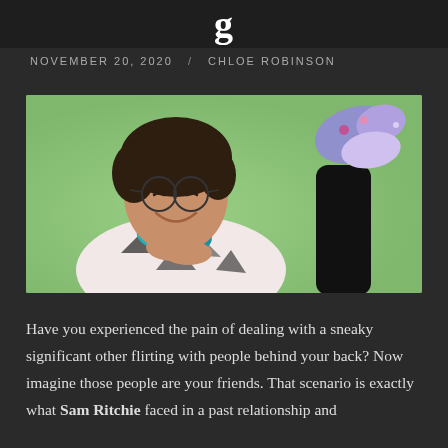g
NOVEMBER 20, 2020  /  CHLOE ROBINSON
[Figure (photo): Person with glasses lying on stomach on a bright green background, wearing a patterned black and white shirt with a teal scarf, smiling with eyes closed, colorful socks visible in upper right]
Have you experienced the pain of dealing with a sneaky significant other flirting with people behind your back? Now imagine those people are your friends. That scenario is exactly what Sam Ritchie faced in a past relationship and